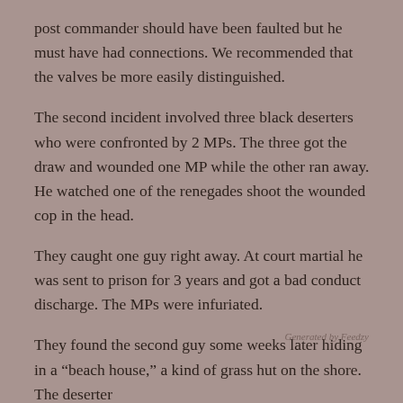post commander should have been faulted but he must have had connections. We recommended that the valves be more easily distinguished.
The second incident involved three black deserters who were confronted by 2 MPs. The three got the draw and wounded one MP while the other ran away. He watched one of the renegades shoot the wounded cop in the head.
They caught one guy right away. At court martial he was sent to prison for 3 years and got a bad conduct discharge. The MPs were infuriated.
They found the second guy some weeks later hiding in a “beach house,” a kind of grass hut on the shore. The deserter